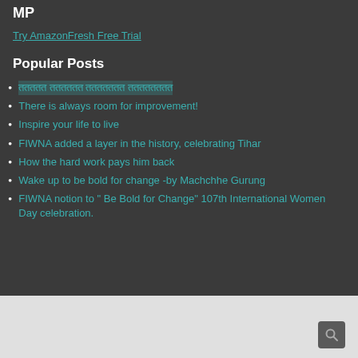MP
Try AmazonFresh Free Trial
Popular Posts
ततततत तततततत ततततततत तततततततत
There is always room for improvement!
Inspire your life to live
FIWNA added a layer in the history, celebrating Tihar
How the hard work pays him back
Wake up to be bold for change -by Machchhe Gurung
FIWNA notion to " Be Bold for Change" 107th International Women Day celebration.